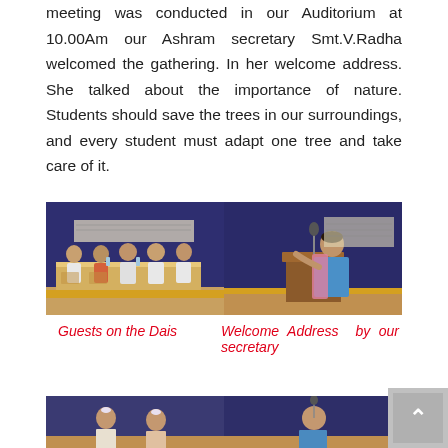meeting was conducted in our Auditorium at 10.00Am our Ashram secretary Smt.V.Radha welcomed the gathering. In her welcome address. She talked about the importance of nature. Students should save the trees in our surroundings, and every student must adapt one tree and take care of it.
[Figure (photo): Two side-by-side photographs: left shows guests seated on a dais on a stage with blue backdrop; right shows a woman in a saree giving a speech at a podium with microphone.]
Guests on the Dais    Welcome Address by our secretary
[Figure (photo): Two side-by-side photographs partially visible at the bottom of the page.]